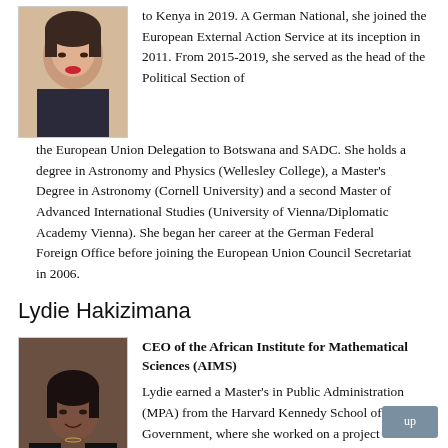[Figure (photo): Portrait photo of a woman with dark hair and red lips, wearing a dark blazer, appears to be a professional headshot.]
to Kenya in 2019. A German National, she joined the European External Action Service at its inception in 2011. From 2015-2019, she served as the head of the Political Section of the European Union Delegation to Botswana and SADC. She holds a degree in Astronomy and Physics (Wellesley College), a Master's Degree in Astronomy (Cornell University) and a second Master of Advanced International Studies (University of Vienna/Diplomatic Academy Vienna). She began her career at the German Federal Foreign Office before joining the European Union Council Secretariat in 2006.
Lydie Hakizimana
[Figure (photo): Portrait photo of a woman with dark skin and hair pulled back, wearing a black blazer, arms crossed, professional headshot.]
CEO of the African Institute for Mathematical Sciences (AIMS)
Lydie earned a Master's in Public Administration (MPA) from the Harvard Kennedy School of Government, where she worked on a project to scale up Happy Hearts, her chain of preschools, by providing quality early education to hundreds of children between the ages of 18 months and five years old in Rwanda. Now CEO of the African Institute for Mathematical Sciences (AIMS), she is also the co-founder of Drakkar Ltd, a publishing house that serves more than 3,000 schools in Rwanda.